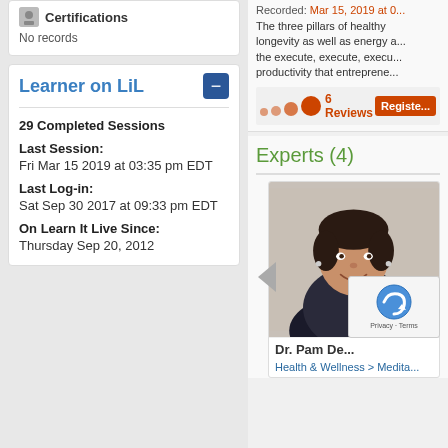Certifications
No records
Learner on LiL
29 Completed Sessions
Last Session:
Fri Mar 15 2019 at 03:35 pm EDT
Last Log-in:
Sat Sep 30 2017 at 09:33 pm EDT
On Learn It Live Since:
Thursday Sep 20, 2012
Recorded: Mar 15, 2019 at 0...
The three pillars of healthy longevity as well as energy a... the execute, execute, execu... productivity that entreprene...
6 Reviews
Register
Experts (4)
Dr. Pam De...
Health & Wellness > Medita...